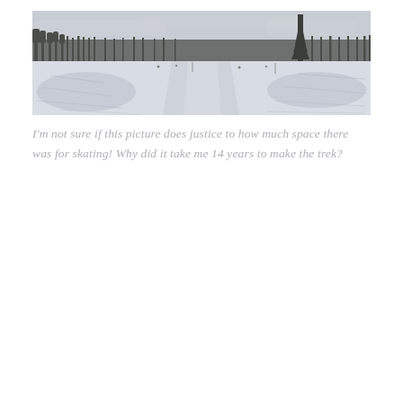[Figure (photo): Panoramic black-and-white photograph of a wide frozen outdoor skating surface. The ice rink extends far into the distance with a cleared path down the center. Bare deciduous trees and a tall evergreen tree line the far background under an overcast sky. A few people are visible in the far distance.]
I'm not sure if this picture does justice to how much space there was for skating! Why did it take me 14 years to make the trek?